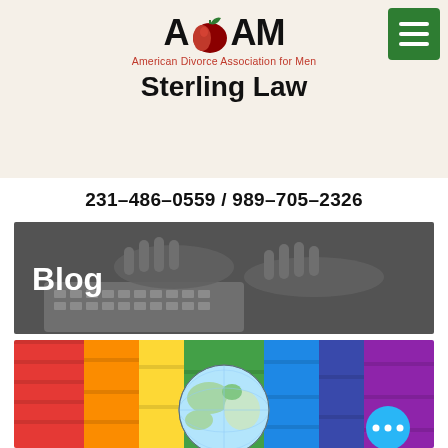[Figure (logo): ADAM logo - American Divorce Association for Men with apple graphic replacing the letter D, Sterling Law firm name below]
231-486-0559 / 989-705-2326
[Figure (photo): Grayscale photo of hands typing on a laptop keyboard with 'Blog' text overlay in white bold]
[Figure (photo): Colorful rainbow wooden planks background with a globe in the center, blue chat button with three dots in bottom right]